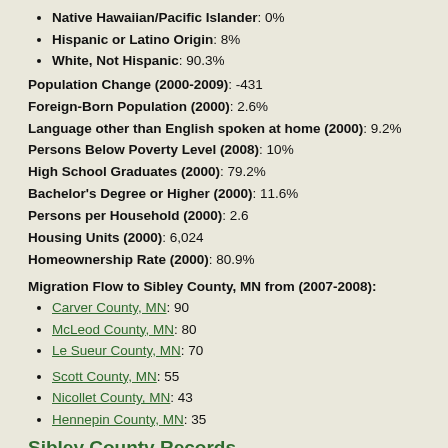Native Hawaiian/Pacific Islander: 0%
Hispanic or Latino Origin: 8%
White, Not Hispanic: 90.3%
Population Change (2000-2009): -431
Foreign-Born Population (2000): 2.6%
Language other than English spoken at home (2000): 9.2%
Persons Below Poverty Level (2008): 10%
High School Graduates (2000): 79.2%
Bachelor's Degree or Higher (2000): 11.6%
Persons per Household (2000): 2.6
Housing Units (2000): 6,024
Homeownership Rate (2000): 80.9%
Migration Flow to Sibley County, MN from (2007-2008):
Carver County, MN: 90
McLeod County, MN: 80
Le Sueur County, MN: 70
Scott County, MN: 55
Nicollet County, MN: 43
Hennepin County, MN: 35
Sibley County Records
Total Earnings by Industry, in thou. dol. (2007):